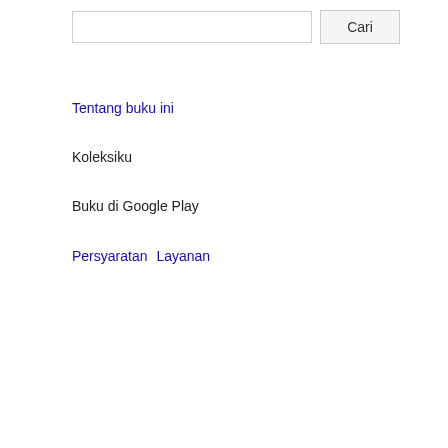Cari (Search button)
Tentang buku ini
Koleksiku
Buku di Google Play
Persyaratan  Layanan
| Columbia, |
| Crawford, |
| Cumberland, |
| Dauphin, |
| Delaware, |
| Elk, |
| Erie, |
| Fayette, |
| Forest, |
| Franklin, |
| Fulton, |
| Greene, |
| Huntingdon, |
| Indiana, |
| Jefferson, |
| Juniata, |
| Lancaster, |
| Lawrence, |
| Lebanon, |
| Lehigh, |
| Luzerne, |
| Lycoming, |
| McKean, |
| Mercer, |
| Mifflin, |
| Monroe, |
| Montgomery, |
| Montour, |
| Northampton, |
| Northumberland, |
| Perry, |
| Philadelphia, |
| Pike, |
| Potter, |
| Schuylkill, |
| Snyder, |
| Somerset, |
| Sullivan |
| Susquehanna, |
| Tioga, |
| Union, |
| Venango, |
| Warren |
| Washington, |
| Wayne, |
| Westmoreland, |
| Wyoming, |
| York, |
| Total, |
| Majority |
VOTE ON PROPOSED AMENDMENTS, 1901.
(At an election held on November ... adopted by the people. The text of ...